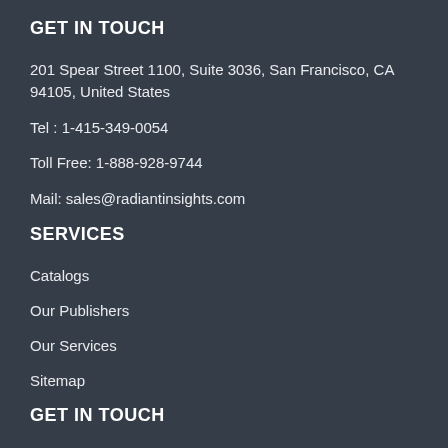GET IN TOUCH
201 Spear Street 1100, Suite 3036, San Francisco, CA 94105, United States
Tel : 1-415-349-0054
Toll Free: 1-888-928-9744
Mail: sales@radiantinsights.com
SERVICES
Catalogs
Our Publishers
Our Services
Sitemap
GET IN TOUCH